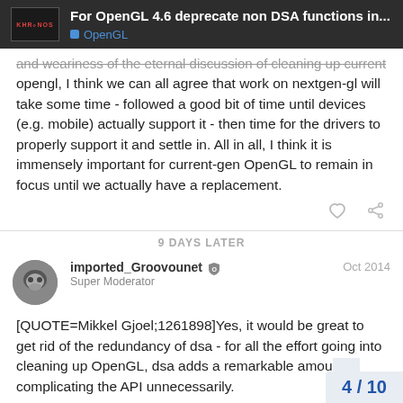For OpenGL 4.6 deprecate non DSA functions in... | OpenGL
and weariness of the eternal discussion of cleaning up current opengl, I think we can all agree that work on nextgen-gl will take some time - followed a good bit of time until devices (e.g. mobile) actually support it - then time for the drivers to properly support it and settle in. All in all, I think it is immensely important for current-gen OpenGL to remain in focus until we actually have a replacement.
9 DAYS LATER
imported_Groovounet  Super Moderator  Oct 2014
[QUOTE=Mikkel Gjoel;1261898]Yes, it would be great to get rid of the redundancy of dsa - for all the effort going into cleaning up OpenGL, dsa adds a remarkable amou complicating the API unnecessarily.
4 / 10